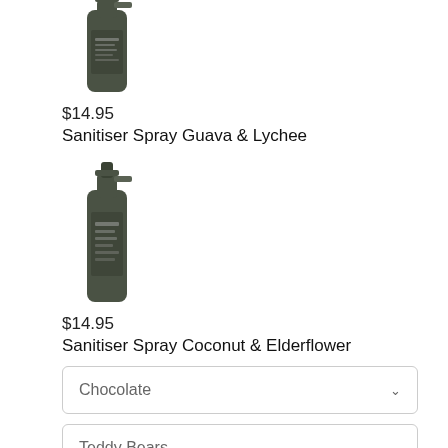[Figure (photo): Dark glass spray bottle product image (top portion visible), partially cropped at top]
$14.95
Sanitiser Spray Guava & Lychee
[Figure (photo): Dark glass spray bottle product image for Sanitiser Spray Coconut & Elderflower]
$14.95
Sanitiser Spray Coconut & Elderflower
Chocolate
Teddy Bears
Wine
Balloons
Ecoya Candles